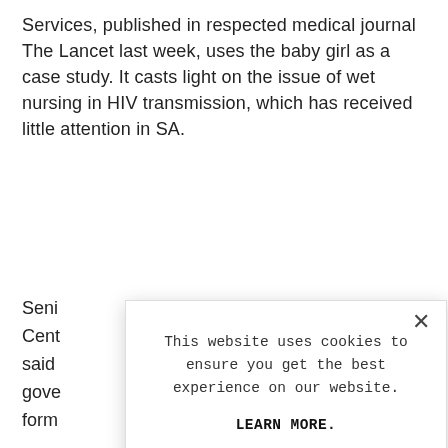Services, published in respected medical journal The Lancet last week, uses the baby girl as a case study. It casts light on the issue of wet nursing in HIV transmission, which has received little attention in SA.
Seni
Cent
said
gove
form
Rese
brea
anti
to b
This website uses cookies to ensure you get the best experience on our website.

LEARN MORE.

ACCEPT COOKIES